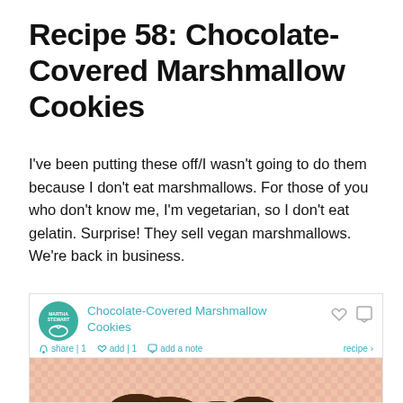Recipe 58: Chocolate-Covered Marshmallow Cookies
I've been putting these off/I wasn't going to do them because I don't eat marshmallows. For those of you who don't know me, I'm vegetarian, so I don't eat gelatin. Surprise! They sell vegan marshmallows. We're back in business.
[Figure (screenshot): Screenshot of a Martha Stewart recipe page for Chocolate-Covered Marshmallow Cookies, showing the recipe title in teal, social sharing bar, and a photo of chocolate-covered marshmallow cookies on a red checkered background.]